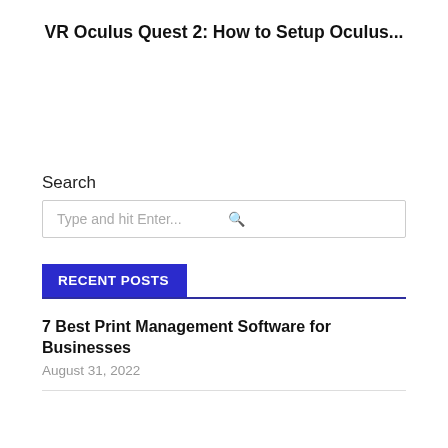VR Oculus Quest 2: How to Setup Oculus...
Search
Type and hit Enter...
RECENT POSTS
7 Best Print Management Software for Businesses
August 31, 2022